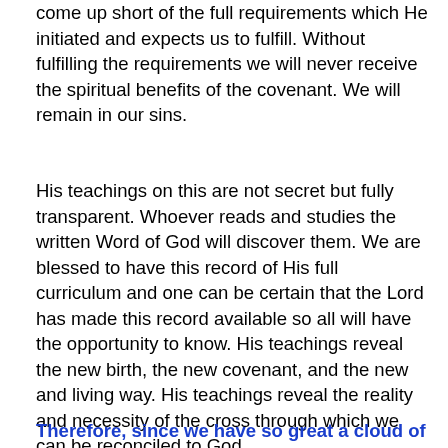come up short of the full requirements which He initiated and expects us to fulfill. Without fulfilling the requirements we will never receive the spiritual benefits of the covenant. We will remain in our sins.
His teachings on this are not secret but fully transparent. Whoever reads and studies the written Word of God will discover them. We are blessed to have this record of His full curriculum and one can be certain that the Lord has made this record available so all will have the opportunity to know. His teachings reveal the new birth, the new covenant, and the new and living way. His teachings reveal the reality and necessity of the cross through which we can be reconciled to God.
Therefore, since we have so great a cloud of witnesses surrounding us, let us also lay aside every